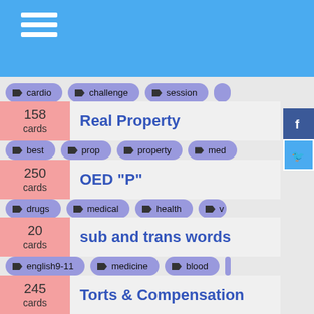cardio | challenge | session
Real Property
best | prop | property | med
OED "P"
drugs | medical | health | v
sub and trans words
english9-11 | medicine | blood
Torts & Compensation
assault | battery | defenses
Cell Bio - Exam 1
cell | plants | biochemistry
alleles
medicine | chemistry | matter
US History- Mid Term Review